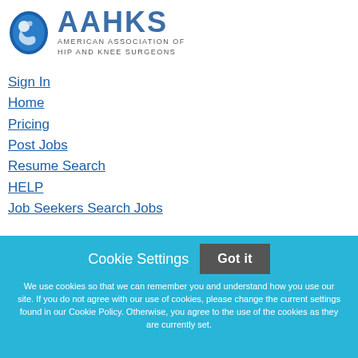[Figure (logo): AAHKS logo with circular bird/globe icon and text 'AAHKS American Association of Hip and Knee Surgeons']
Sign In
Home
Pricing
Post Jobs
Resume Search
HELP
Job Seekers Search Jobs
Featured Employer
[Figure (photo): Banner image strip showing medical/surgical scene in blue and gray tones]
Cookie Settings
Got it
We use cookies so that we can remember you and understand how you use our site. If you do not agree with our use of cookies, please change the current settings found in our Cookie Policy. Otherwise, you agree to the use of the cookies as they are currently set.